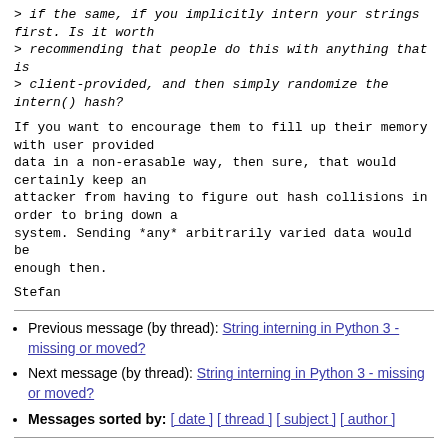> if the same, if you implicitly intern your strings first. Is it worth
> recommending that people do this with anything that is
> client-provided, and then simply randomize the intern() hash?
If you want to encourage them to fill up their memory with user provided data in a non-erasable way, then sure, that would certainly keep an attacker from having to figure out hash collisions in order to bring down a system. Sending *any* arbitrarily varied data would be enough then.
Stefan
Previous message (by thread): String interning in Python 3 - missing or moved?
Next message (by thread): String interning in Python 3 - missing or moved?
Messages sorted by: [ date ] [ thread ] [ subject ] [ author ]
More information about the Python-list mailing list